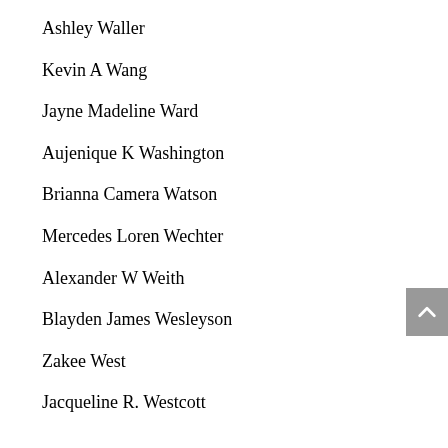Ashley Waller
Kevin A Wang
Jayne Madeline Ward
Aujenique K Washington
Brianna Camera Watson
Mercedes Loren Wechter
Alexander W Weith
Blayden James Wesleyson
Zakee West
Jacqueline R. Westcott